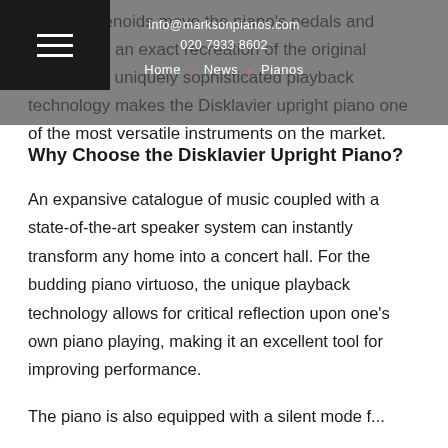info@marksonpianos.com
020 7933 8602
Home • News • Pianos
yback, solenoids move the piano's pedals and s to deliver an exact recreation of the original piece. This uniquely sophisticated playback technology makes the Disklavier upright piano one of the most versatile instruments on the market.
Why Choose the Disklavier Upright Piano?
An expansive catalogue of music coupled with a state-of-the-art speaker system can instantly transform any home into a concert hall. For the budding piano virtuoso, the unique playback technology allows for critical reflection upon one's own piano playing, making it an excellent tool for improving performance.
The piano is also equipped with a silent mode f...